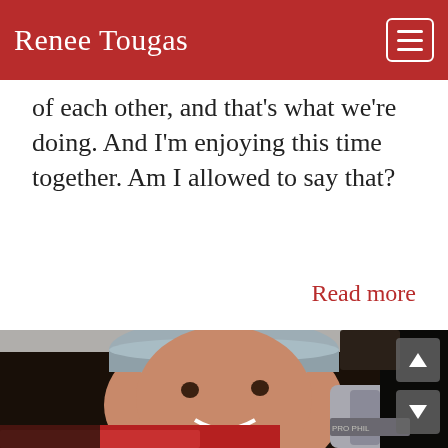Renee Tougas
of each other, and that's what we're doing. And I'm enjoying this time together. Am I allowed to say that?
Read more
[Figure (photo): Close-up photo of a smiling woman wearing a knitted grey hat and a red plaid scarf, holding ice skates near her face, photographed outdoors at night.]